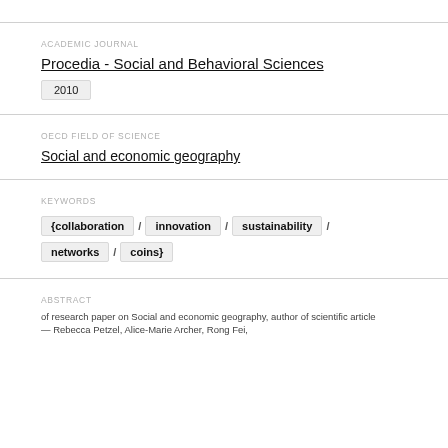ACADEMIC JOURNAL
Procedia - Social and Behavioral Sciences
2010
OECD FIELD OF SCIENCE
Social and economic geography
KEYWORDS
{collaboration / innovation / sustainability / networks / coins}
ABSTRACT
of research paper on Social and economic geography, author of scientific article — Rebecca Petzel, Alice-Marie Archer, Rong Fei,